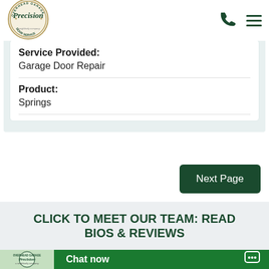[Figure (logo): Precision Door Service logo - circular badge with overhead garage text]
Service Provided:
Garage Door Repair
Product:
Springs
Next Page
CLICK TO MEET OUR TEAM: READ BIOS & REVIEWS
Chat now